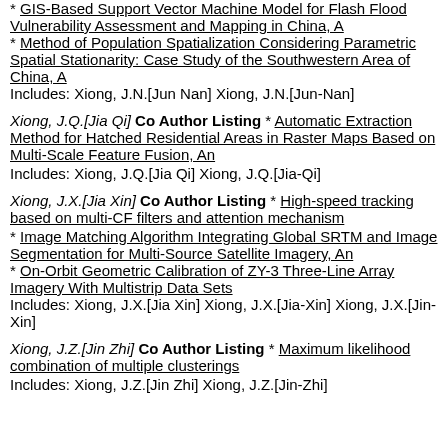* GIS-Based Support Vector Machine Model for Flash Flood Vulnerability Assessment and Mapping in China, A
* Method of Population Spatialization Considering Parametric Spatial Stationarity: Case Study of the Southwestern Area of China, A
Includes: Xiong, J.N.[Jun Nan] Xiong, J.N.[Jun-Nan]
Xiong, J.Q.[Jia Qi] Co Author Listing * Automatic Extraction Method for Hatched Residential Areas in Raster Maps Based on Multi-Scale Feature Fusion, An
Includes: Xiong, J.Q.[Jia Qi] Xiong, J.Q.[Jia-Qi]
Xiong, J.X.[Jia Xin] Co Author Listing * High-speed tracking based on multi-CF filters and attention mechanism
* Image Matching Algorithm Integrating Global SRTM and Image Segmentation for Multi-Source Satellite Imagery, An
* On-Orbit Geometric Calibration of ZY-3 Three-Line Array Imagery With Multistrip Data Sets
Includes: Xiong, J.X.[Jia Xin] Xiong, J.X.[Jia-Xin] Xiong, J.X.[Jin-Xin]
Xiong, J.Z.[Jin Zhi] Co Author Listing * Maximum likelihood combination of multiple clusterings
Includes: Xiong, J.Z.[Jin Zhi] Xiong, J.Z.[Jin-Zhi]